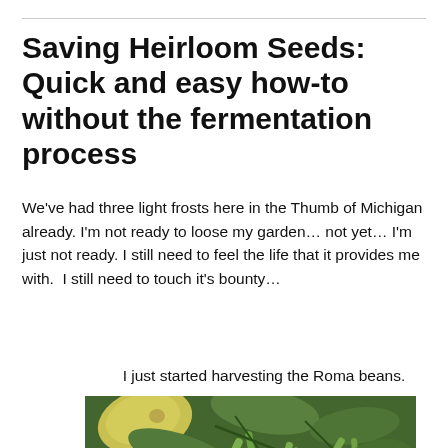Saving Heirloom Seeds: Quick and easy how-to without the fermentation process
We've had three light frosts here in the Thumb of Michigan already. I'm not ready to loose my garden… not yet… I'm just not ready. I still need to feel the life that it provides me with.  I still need to touch it's bounty…
I just started harvesting the Roma beans.
[Figure (photo): A hand harvesting Roma beans from green bean plants with leaves, some yellowing foliage visible in a garden setting]